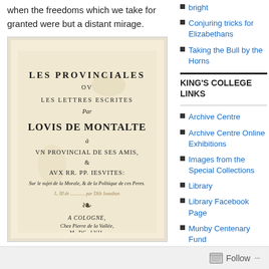when the freedoms which we take for granted were but a distant mirage.
[Figure (photo): Title page of 'Les Provinciales' by Louis de Montalte, a historical book published in Cologne by Pierre de la Vallée. The page shows the full title and publication details in old French typography.]
bright
Conjuring tricks for Elizabethans
Taking the Bull by the Horns
KING'S COLLEGE LINKS
Archive Centre
Archive Centre Online Exhibitions
Images from the Special Collections
Library
Library Facebook Page
Munby Centenary Fund
Follow